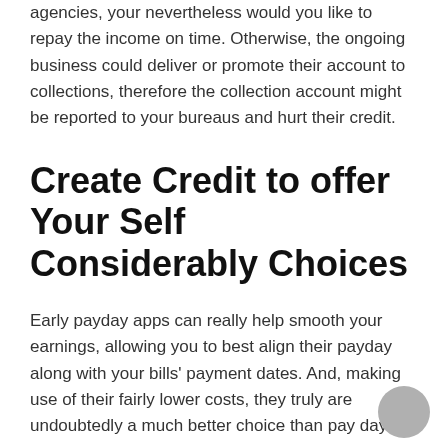usually reported to your credit reporting agencies, your nevertheless would you like to repay the income on time. Otherwise, the ongoing business could deliver or promote their account to collections, therefore the collection account might be reported to your bureaus and hurt their credit.
Create Credit to offer Your Self Considerably Choices
Early payday apps can really help smooth your earnings, allowing you to best align their payday along with your bills' payment dates. And, making use of their fairly lower costs, they truly are undoubtedly a much better choice than pay day